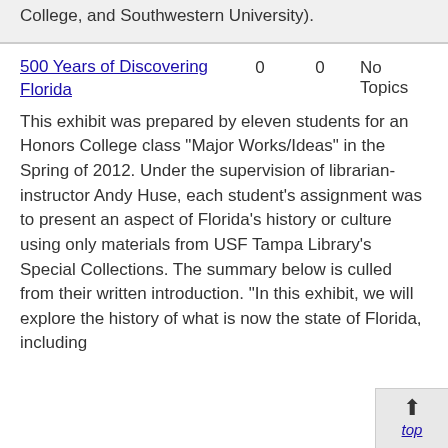College, and Southwestern University).
| Title | 0 | 0 | No Topics |
| --- | --- | --- | --- |
| 500 Years of Discovering Florida | 0 | 0 | No Topics |
This exhibit was prepared by eleven students for an Honors College class "Major Works/Ideas" in the Spring of 2012. Under the supervision of librarian-instructor Andy Huse, each student's assignment was to present an aspect of Florida's history or culture using only materials from USF Tampa Library's Special Collections. The summary below is culled from their written introduction. "In this exhibit, we will explore the history of what is now the state of Florida, including the decline of the native...